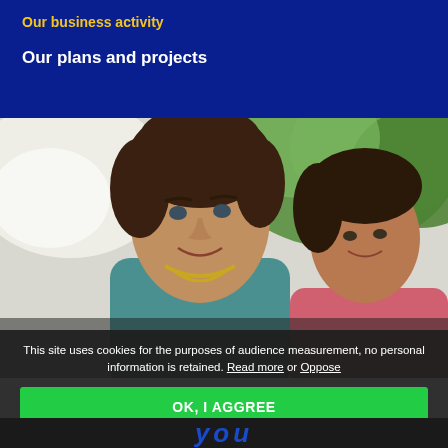Our business activity
Our plans and projects
[Figure (photo): Two people outdoors smiling, woman in teal top in foreground, man in pink shirt in background, green trees behind them]
This site uses cookies for the purposes of audience measurement, no personal information is retained. Read more or Oppose
OK, I AGGREE